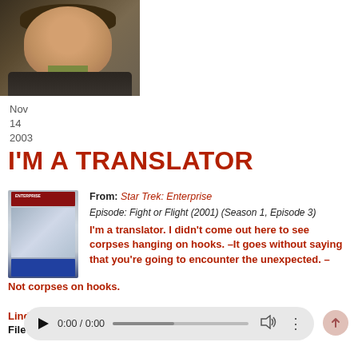[Figure (photo): Headshot photo of a man in a dark suit with a light green shirt, smiling]
Nov
14
2003
I'M A TRANSLATOR
[Figure (photo): Star Trek: Enterprise DVD box set cover]
From: Star Trek: Enterprise
Episode: Fight or Flight (2001) (Season 1, Episode 3)
I'm a translator. I didn't come out here to see corpses hanging on hooks. –It goes without saying that you're going to encounter the unexpected. –Not corpses on hooks.
Linda Park (Hoshi Sato) | John Billingsley (Dr. Phlox)
File Updated: 2017-11-20